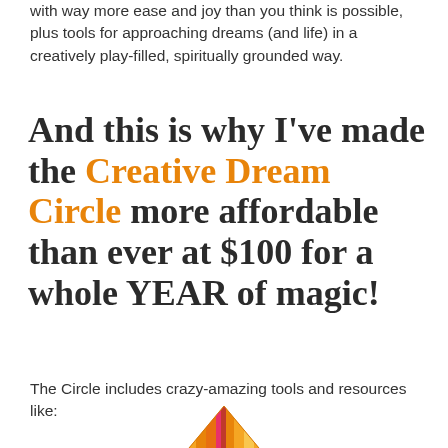with way more ease and joy than you think is possible, plus tools for approaching dreams (and life) in a creatively play-filled, spiritually grounded way.
And this is why I've made the Creative Dream Circle more affordable than ever at $100 for a whole YEAR of magic!
The Circle includes crazy-amazing tools and resources like:
[Figure (illustration): Colorful pencil or crystal/gem illustration with orange, yellow, pink, and red stripes, pointing upward, partially visible at bottom of page.]